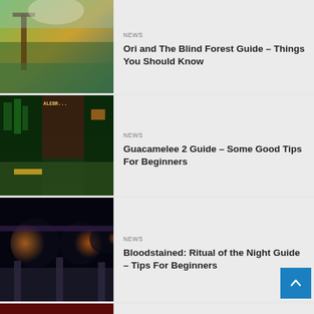[Figure (screenshot): Game screenshot: Ori and the Blind Forest, forest scene with torii gate]
NEWS
Ori and The Blind Forest Guide – Things You Should Know
[Figure (screenshot): Game screenshot: Guacamelee 2, pixel art platformer scene]
NEWS
Guacamelee 2 Guide – Some Good Tips For Beginners
[Figure (screenshot): Game screenshot: Bloodstained Ritual of the Night, dark castle scene]
NEWS
Bloodstained: Ritual of the Night Guide – Tips For Beginners
[Figure (screenshot): Game screenshot: dark red/brown scene, partially visible]